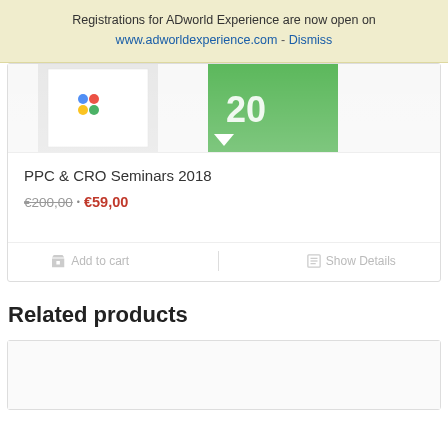Registrations for ADworld Experience are now open on www.adworldexperience.com - Dismiss
[Figure (photo): Product image partially visible, showing a white box with colorful logo and green discount label with '20']
PPC & CRO Seminars 2018
€200,00 · €59,00
Add to cart   Show Details
Related products
[Figure (photo): Related product image area, mostly blank/loading]